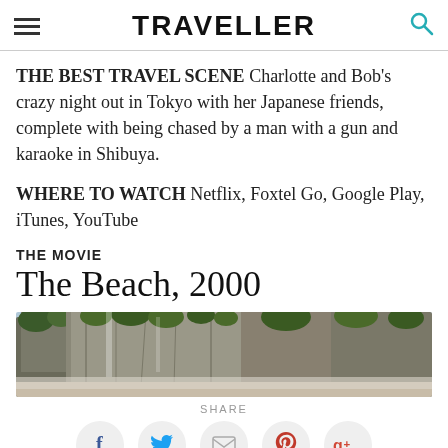TRAVELLER
THE BEST TRAVEL SCENE Charlotte and Bob's crazy night out in Tokyo with her Japanese friends, complete with being chased by a man with a gun and karaoke in Shibuya.
WHERE TO WATCH Netflix, Foxtel Go, Google Play, iTunes, YouTube
THE MOVIE
The Beach, 2000
[Figure (photo): Landscape photo showing rocky cliffs with green vegetation and misty scenery, likely a tropical or coastal location]
SHARE
Social share icons: Facebook, Twitter, Email, Pinterest, Google+